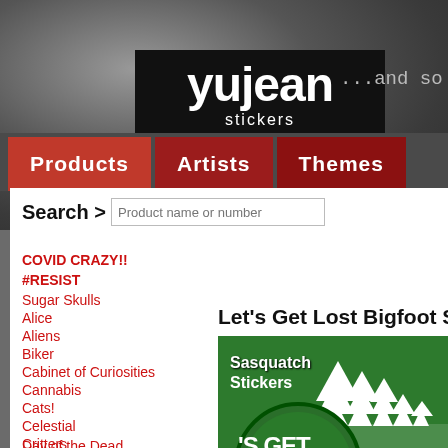[Figure (logo): Yujean Stickers logo — white text on black background rectangle, with tagline '...and so much mo' in grey to the right]
...and so much mo
Products
Artists
Themes
Search > Product name or number
COVID CRAZY!!
#RESIST
Sugar Skulls
Alice
Aliens
Biker
Cabinet of Curiosities
Cannabis
Cats!
Celestial
Critters
Day of the Dead
Let's Get Lost Bigfoot Sasq
[Figure (illustration): Green circular sasquatch sticker image showing 'Sasquatch Stickers' text with white tree silhouettes and a partial circular badge showing 'T'S GET' text]